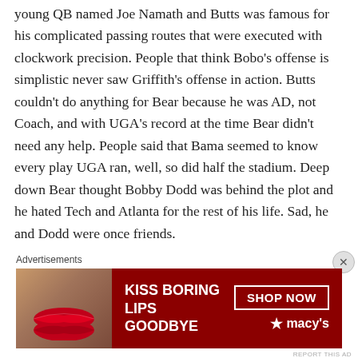young QB named Joe Namath and Butts was famous for his complicated passing routes that were executed with clockwork precision. People that think Bobo's offense is simplistic never saw Griffith's offense in action. Butts couldn't do anything for Bear because he was AD, not Coach, and with UGA's record at the time Bear didn't need any help. People said that Bama seemed to know every play UGA ran, well, so did half the stadium. Deep down Bear thought Bobby Dodd was behind the plot and he hated Tech and Atlanta for the rest of his life. Sad, he and Dodd were once friends.
Advertisements
[Figure (other): Advertisement banner for Macy's lipstick promotion. Red background with woman's face showing red lips on left. Text reads 'KISS BORING LIPS GOODBYE' with 'SHOP NOW' button and Macy's star logo on right.]